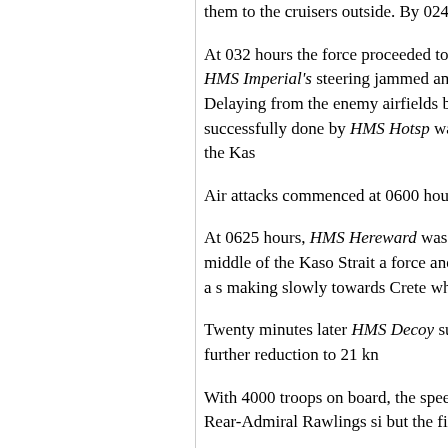them to the cruisers outside. By 0245/29 the fe embarked the rearguard.
At 032 hours the force proceeded to sea at 29 k until 0345 hours when HMS Imperial's steering jammed and repairs could not be made. Delaying from the enemy airfields before daylight. It was hours this was successfully done by HMS Hotsp was only at sunrise that they arrived off the Kas
Air attacks commenced at 0600 hours and conti
At 0625 hours, HMS Hereward was hit by a bon force was then in the middle of the Kaso Strait a force and the troops on board for the sake of a s making slowly towards Crete which was only fiv
Twenty minutes later HMS Decoy suffered dama reduced to 25 knots. A further reduction to 21 kn
With 4000 troops on board, the speed reduced t in-Chief realised from Rear-Admiral Rawlings si but the fighters only appeared at noon.